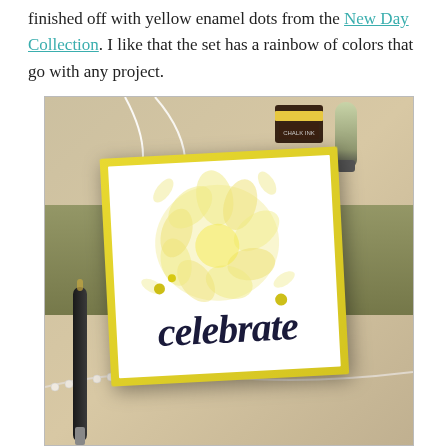finished off with yellow enamel dots from the New Day Collection. I like that the set has a rainbow of colors that go with any project.
[Figure (photo): A handmade greeting card reading 'celebrate' in dark navy script, with yellow floral embossing on white cardstock and yellow card base with enamel dots. Card is on a textured background with crafting tools including an ink stamp, sponge blender, pen, and string of pearls.]